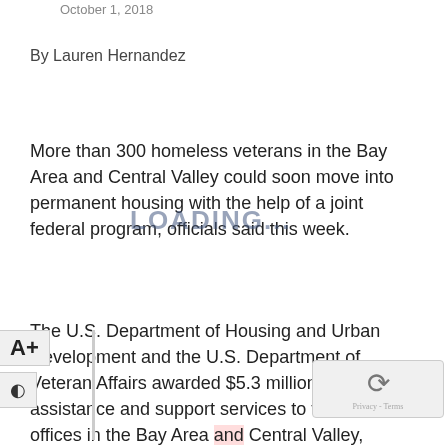October 1, 2018
By Lauren Hernandez
More than 300 homeless veterans in the Bay Area and Central Valley could soon move into permanent housing with the help of a joint federal program, officials said this week.
The U.S. Department of Housing and Urban Development and the U.S. Department of Veteran Affairs awarded $5.3 million for rental assistance and support services to various HUD offices in the Bay Area and Central Valley,